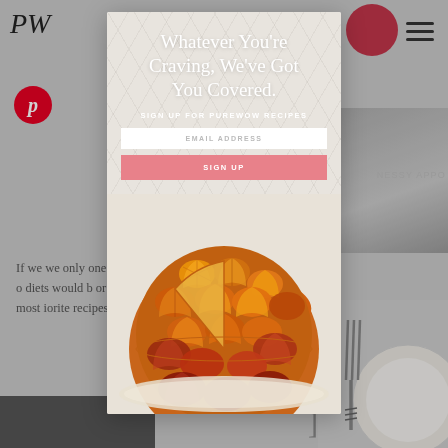[Figure (screenshot): Website screenshot showing a PureWow recipe page with a modal popup newsletter signup overlay. The modal features the headline 'Whatever You're Craving, We've Got You Covered.' with an email signup form and a photo of a blood orange upside-down cake.]
Whatever You're Craving, We've Got You Covered.
SIGN UP FOR PUREWOW RECIPES
EMAIL ADDRESS
SIGN UP
If we we... only one foo... st. The humble... o diets would b... or anythin... s) and, most i... orite recipes.